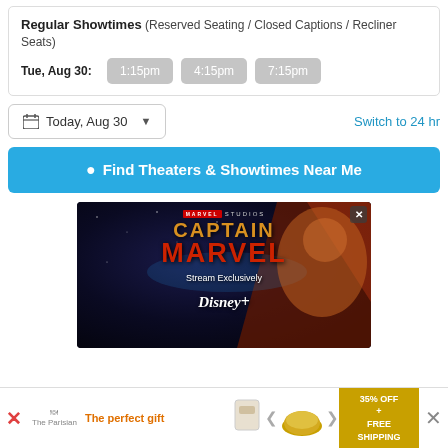Regular Showtimes (Reserved Seating / Closed Captions / Recliner Seats)
Tue, Aug 30: 1:15pm  4:15pm  7:15pm
Today, Aug 30
Switch to 24 hr
Find Theaters & Showtimes Near Me
[Figure (photo): Captain Marvel movie advertisement showing Marvel Studios branding, Captain Marvel text in red, 'Stream Exclusively' tagline, and Disney+ logo on a dark cosmic background with a female hero figure]
The perfect gift   35% OFF + FREE SHIPPING